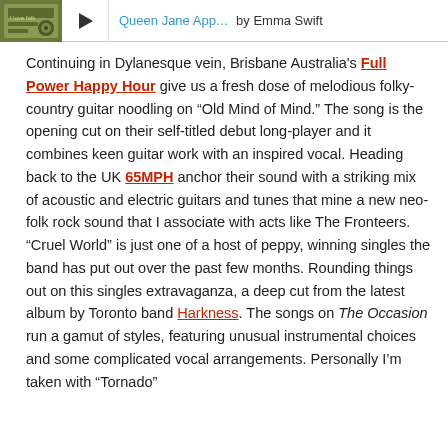[Figure (other): Music player banner showing album art thumbnail, play button, song title 'Queen Jane App...' by Emma Swift]
Continuing in Dylanesque vein, Brisbane Australia's Full Power Happy Hour give us a fresh dose of melodious folky-country guitar noodling on “Old Mind of Mind.” The song is the opening cut on their self-titled debut long-player and it combines keen guitar work with an inspired vocal. Heading back to the UK 65MPH anchor their sound with a striking mix of acoustic and electric guitars and tunes that mine a new neo-folk rock sound that I associate with acts like The Fronteers. “Cruel World” is just one of a host of peppy, winning singles the band has put out over the past few months. Rounding things out on this singles extravaganza, a deep cut from the latest album by Toronto band Harkness. The songs on The Occasion run a gamut of styles, featuring unusual instrumental choices and some complicated vocal arrangements. Personally I’m taken with “Tornado”